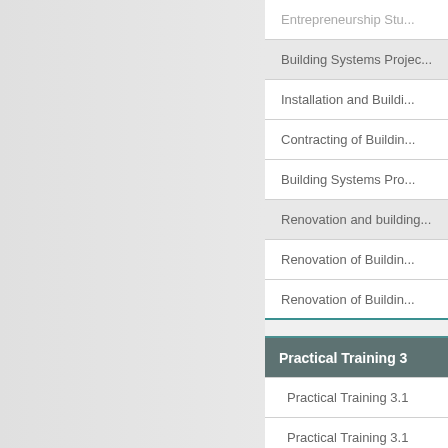Entrepreneurship Stu...
Building Systems Projec...
Installation and Buildi...
Contracting of Buildin...
Building Systems Pro...
Renovation and building...
Renovation of Buildin...
Renovation of Buildin...
Practical Training 3
Practical Training 3.1
Practical Training 3.1
Advaced Studies 2
(Choose one)